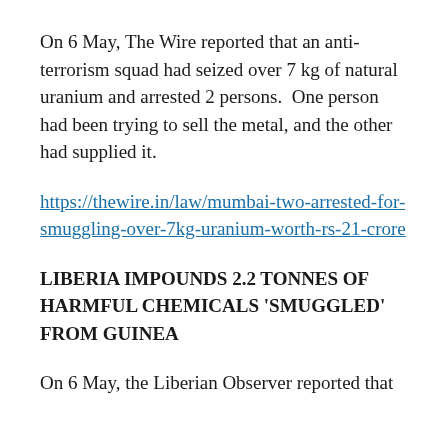On 6 May, The Wire reported that an anti-terrorism squad had seized over 7 kg of natural uranium and arrested 2 persons.  One person had been trying to sell the metal, and the other had supplied it.
https://thewire.in/law/mumbai-two-arrested-for-smuggling-over-7kg-uranium-worth-rs-21-crore
LIBERIA IMPOUNDS 2.2 TONNES OF HARMFUL CHEMICALS 'SMUGGLED' FROM GUINEA
On 6 May, the Liberian Observer reported that